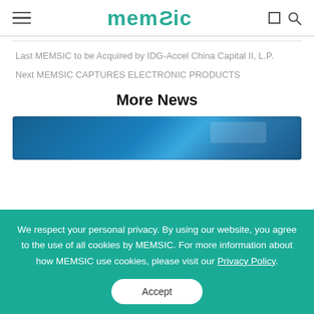MEMSIC
Last MEMSIC to be Acquired by IDG-Accel China Capital II, L.P.
Next MEMSIC CAPTURES ELECTRONIC PRODUCTS
More News
[Figure (photo): Blurred blue technology/electronics image used as a news thumbnail]
We respect your personal privacy. By using our website, you agree to the use of all cookies by MEMSIC. For more information about how MEMSIC use cookies, please visit our Privacy Policy.
Accept